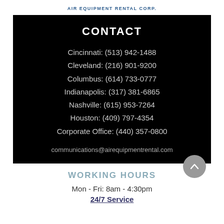AIR EQUIPMENT RENTAL CORP.
CONTACT
Cincinnati: (513) 942-1488
Cleveland: (216) 901-9200
Columbus: (614) 733-0777
Indianapolis: (317) 381-6865
Nashville: (615) 953-7264
Houston: (409) 797-4354
Corporate Office: (440) 357-0800
communications@airequipmentrental.com
WORKING HOURS
Mon - Fri: 8am - 4:30pm
24/7 Service